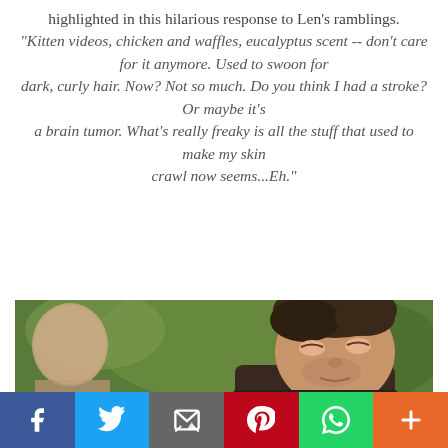highlighted in this hilarious response to Len's ramblings. "Kitten videos, chicken and waffles, eucalyptus scent -- don't care for it anymore. Used to swoon for dark, curly hair. Now? Not so much. Do you think I had a stroke? Or maybe it's a brain tumor. What's really freaky is all the stuff that used to make my skin crawl now seems...Eh."
[Figure (photo): A man with dark hair looking to the side, with another person partially visible on the left and green foliage in the background.]